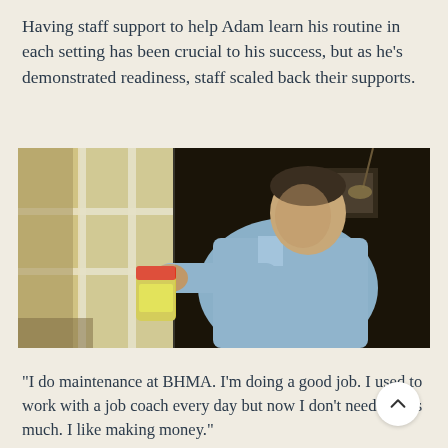Having staff support to help Adam learn his routine in each setting has been crucial to his success, but as he's demonstrated readiness, staff scaled back their supports.
[Figure (photo): A young man in a light blue button-up shirt uses a spray bottle to clean a window. He is indoors, with a dark interior and natural light coming through the glass pane.]
"I do maintenance at BHMA. I'm doing a good job. I used to work with a job coach every day but now I don't need one as much. I like making money."